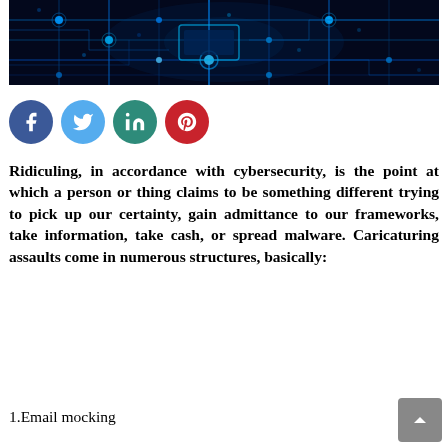[Figure (photo): Close-up photo of a blue-lit circuit board with glowing traces and connection points on a dark background]
[Figure (infographic): Four social media share buttons: Facebook (dark blue), Twitter (light blue), LinkedIn (teal), Pinterest (red)]
Ridiculing, in accordance with cybersecurity, is the point at which a person or thing claims to be something different trying to pick up our certainty, gain admittance to our frameworks, take information, take cash, or spread malware. Caricaturing assaults come in numerous structures, basically:
1.Email mocking